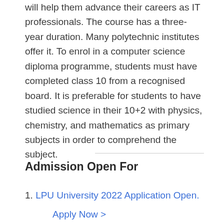will help them advance their careers as IT professionals. The course has a three-year duration. Many polytechnic institutes offer it. To enrol in a computer science diploma programme, students must have completed class 10 from a recognised board. It is preferable for students to have studied science in their 10+2 with physics, chemistry, and mathematics as primary subjects in order to comprehend the subject.
Admission Open For
LPU University 2022 Application Open. Apply Now >